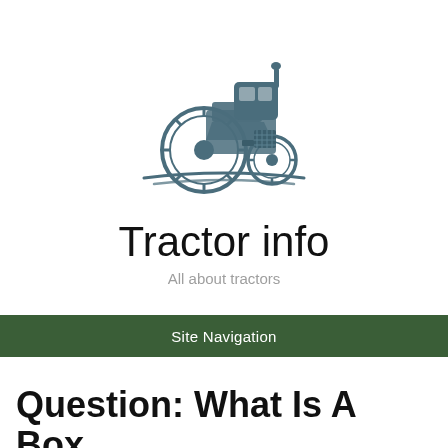[Figure (logo): Tractor illustration logo — a large blue-grey tractor facing left, with stylized ground lines beneath it]
Tractor info
All about tractors
Site Navigation
Question: What Is A Box